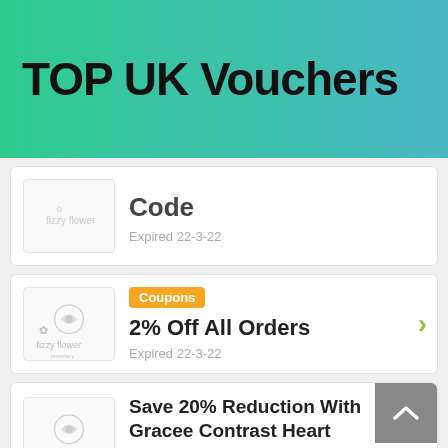TOP UK Vouchers
Code
Expired 22-3-22
Coupons
2% Off All Orders
Expired 22-3-22
Save 20% Reduction With Gracee Contrast Heart Necklace
Expired 29-3-22